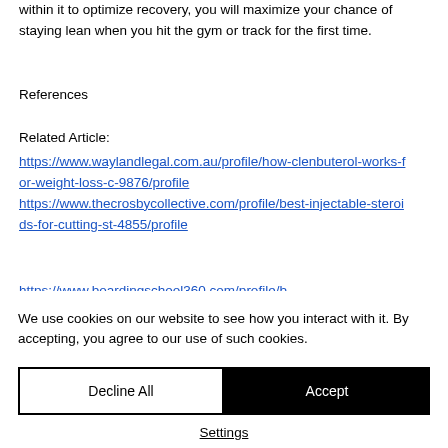within it to optimize recovery, you will maximize your chance of staying lean when you hit the gym or track for the first time.
References
Related Article:
https://www.waylandlegal.com.au/profile/how-clenbuterol-works-for-weight-loss-c-9876/profile https://www.thecrosbycollective.com/profile/best-injectable-steroids-for-cutting-st-4855/profile https://www.boardingschool360.com/profile/b...
We use cookies on our website to see how you interact with it. By accepting, you agree to our use of such cookies.
Decline All
Accept
Settings